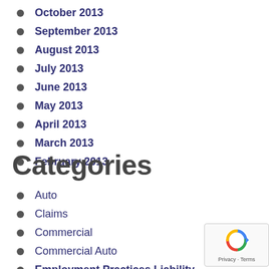October 2013
September 2013
August 2013
July 2013
June 2013
May 2013
April 2013
March 2013
February 2013
Categories
Auto
Claims
Commercial
Commercial Auto
Employment Practices Liability